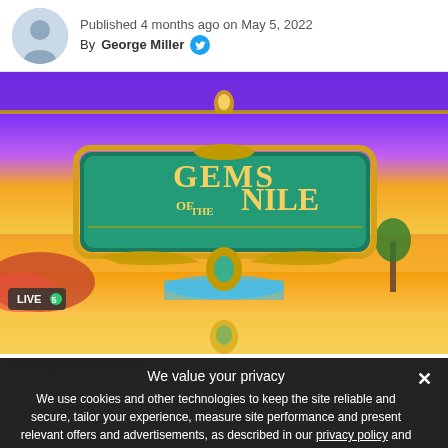Published 4 months ago on May 5, 2022
By George Miller
[Figure (photo): Gems of the Nile slot game promotional banner with Egyptian theme, showing colorful desert landscape with the game logo in the center. Includes 'Live 5' logo in the bottom left.]
Reading Time: 2 minutes
We value your privacy

We use cookies and other technologies to keep the site reliable and secure, tailor your experience, measure site performance and present relevant offers and advertisements, as described in our privacy policy and cookie policy.